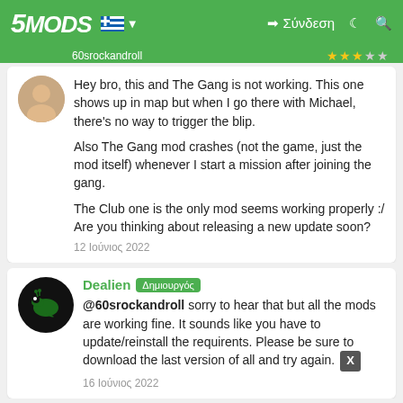5MODS | Σύνδεση
60srockandroll
Hey bro, this and The Gang is not working. This one shows up in map but when I go there with Michael, there's no way to trigger the blip.

Also The Gang mod crashes (not the game, just the mod itself) whenever I start a mission after joining the gang.

The Club one is the only mod seems working properly :/ Are you thinking about releasing a new update soon?
12 Ιούνιος 2022
Dealien Δημιουργός
@60srockandroll sorry to hear that but all the mods are working fine. It sounds like you have to update/reinstall the requirents. Please be sure to download the last version of all and try again.
16 Ιούνιος 2022
KydTheKid